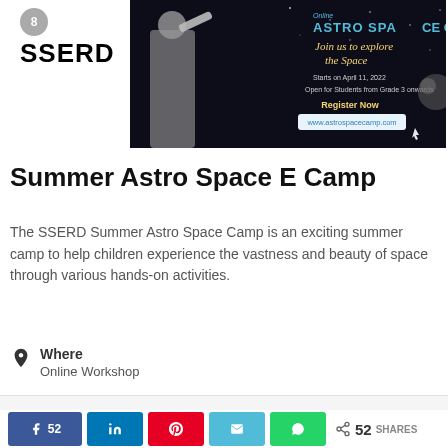8 SSERD
[Figure (illustration): Astro Space Camp banner: dark background with child looking through telescope, text 'ASTRO SPACE CAMP Join us to explore the Space, Starts on April 11, 2022, Open for Students from Grade 3 onwards, Register Now, www.astrospacecamp.com']
Summer Astro Space E Camp
The SSERD Summer Astro Space Camp is an exciting summer camp to help children experience the vastness and beauty of space through various hands-on activities.
Where
Online Workshop